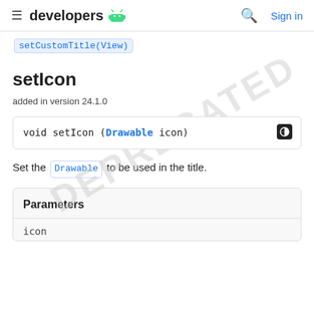≡ developers [android logo]    🔍  Sign in
setCustomTitle(View)
setIcon
added in version 24.1.0
void setIcon (Drawable icon)
Set the Drawable to be used in the title.
| Parameters |
| --- |
| icon |